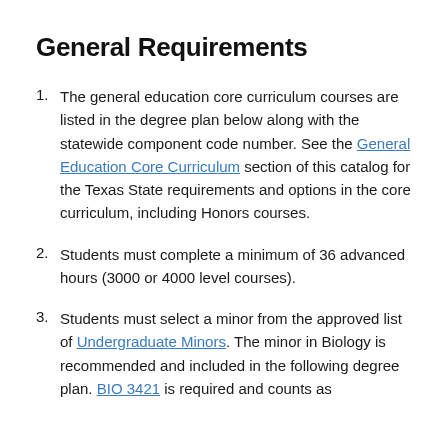General Requirements
The general education core curriculum courses are listed in the degree plan below along with the statewide component code number. See the General Education Core Curriculum section of this catalog for the Texas State requirements and options in the core curriculum, including Honors courses.
Students must complete a minimum of 36 advanced hours (3000 or 4000 level courses).
Students must select a minor from the approved list of Undergraduate Minors. The minor in Biology is recommended and included in the following degree plan. BIO 3421 is required and counts as…